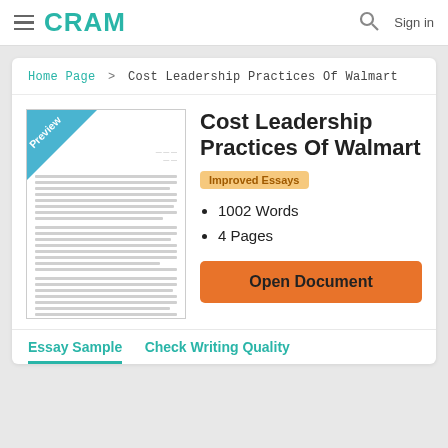CRAM  Sign in
Home Page > Cost Leadership Practices Of Walmart
[Figure (screenshot): Document preview thumbnail with 'Preview' banner in top-left corner and blurred/simulated text lines]
Cost Leadership Practices Of Walmart
Improved Essays
1002 Words
4 Pages
Open Document
Essay Sample   Check Writing Quality